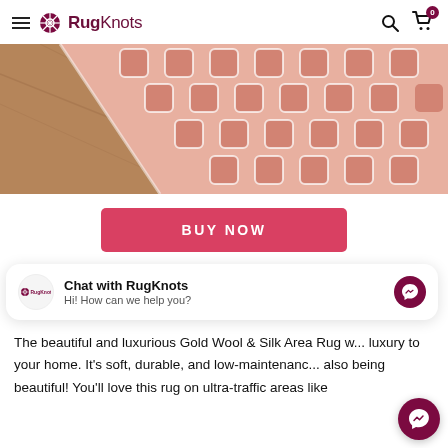RugKnots
[Figure (photo): Pink and white patterned area rug on wood floor, viewed from above at an angle]
BUY NOW
Chat with RugKnots
Hi! How can we help you?
The beautiful and luxurious Gold Wool & Silk Area Rug w... luxury to your home. It's soft, durable, and low-maintenanc... also being beautiful! You'll love this rug on ultra-traffic areas like